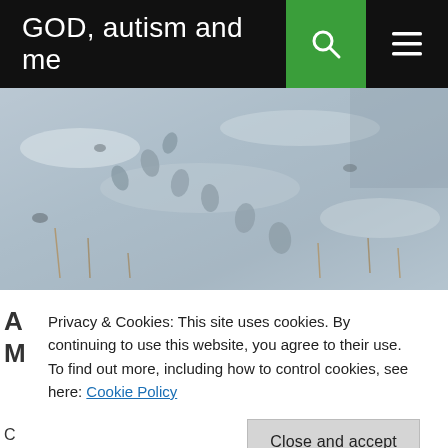GOD, autism and me
[Figure (photo): Close-up photo of footprints or animal tracks in snow-covered ground with dried grass or stubble poking through the snow]
Privacy & Cookies: This site uses cookies. By continuing to use this website, you agree to their use.
To find out more, including how to control cookies, see here: Cookie Policy
Close and accept